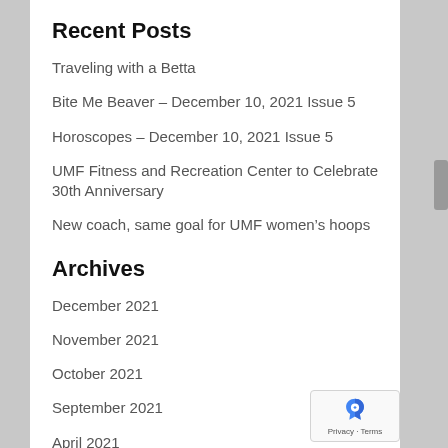Recent Posts
Traveling with a Betta
Bite Me Beaver – December 10, 2021 Issue 5
Horoscopes – December 10, 2021 Issue 5
UMF Fitness and Recreation Center to Celebrate 30th Anniversary
New coach, same goal for UMF women's hoops
Archives
December 2021
November 2021
October 2021
September 2021
April 2021
March 2021